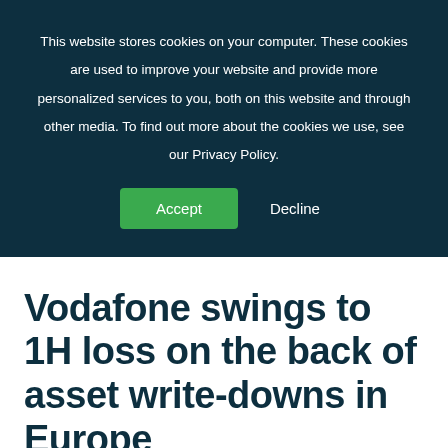This website stores cookies on your computer. These cookies are used to improve your website and provide more personalized services to you, both on this website and through other media. To find out more about the cookies we use, see our Privacy Policy.
Accept | Decline
Vodafone swings to 1H loss on the back of asset write-downs in Europe
[Figure (illustration): UK flag (Union Jack) emoji/icon at bottom left]